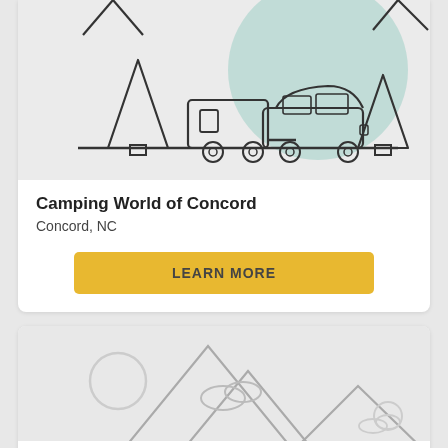[Figure (illustration): Camping World illustration showing a car towing a travel trailer with pine trees and a teal circle in the background, on a light gray background]
Camping World of Concord
Concord, NC
LEARN MORE
[Figure (illustration): Partial outdoor/mountain scene illustration with mountains, clouds, and a circle (sun or moon), on a light gray background]